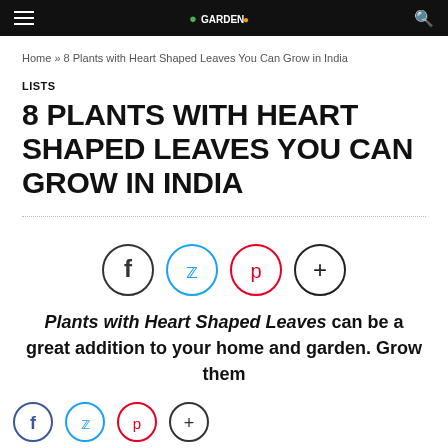Navigation bar with hamburger menu and search icon
Home » 8 Plants with Heart Shaped Leaves You Can Grow in India
LISTS
8 PLANTS WITH HEART SHAPED LEAVES YOU CAN GROW IN INDIA
[Figure (infographic): Social sharing icons: Facebook (dark circle), Twitter (blue circle), Pinterest (red circle), Plus/More (dark circle)]
Plants with Heart Shaped Leaves can be a great addition to your home and garden. Grow them
[Figure (infographic): Bottom social sharing icons (partial): Facebook (blue), Twitter (blue), Pinterest (red), Plus (dark)]